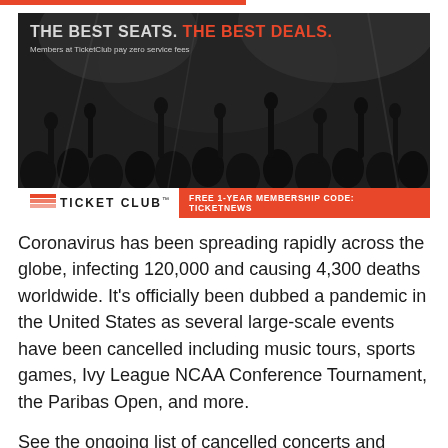[Figure (infographic): TicketClub advertisement banner with crowd photo. Headline: 'THE BEST SEATS. THE BEST DEALS.' Subtext: 'Members at TicketClub pay zero service fees'. Bottom bar shows TicketClub logo and 'FREE 1-YEAR MEMBERSHIP CODE: TICKETNEWS' on orange background.]
Coronavirus has been spreading rapidly across the globe, infecting 120,000 and causing 4,300 deaths worldwide. It’s officially been dubbed a pandemic in the United States as several large-scale events have been cancelled including music tours, sports games, Ivy League NCAA Conference Tournament, the Paribas Open, and more.
See the ongoing list of cancelled concerts and festivals due to coronavirus here